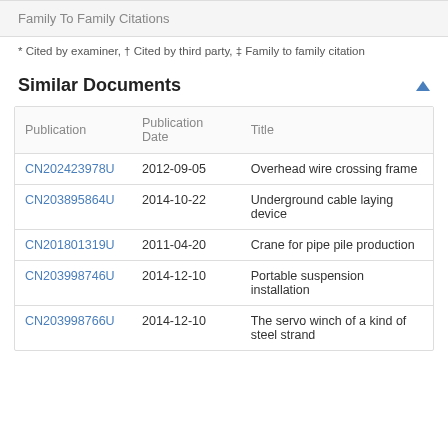Family To Family Citations
* Cited by examiner, † Cited by third party, ‡ Family to family citation
Similar Documents
| Publication | Publication Date | Title |
| --- | --- | --- |
| CN202423978U | 2012-09-05 | Overhead wire crossing frame |
| CN203895864U | 2014-10-22 | Underground cable laying device |
| CN201801319U | 2011-04-20 | Crane for pipe pile production |
| CN203998746U | 2014-12-10 | Portable suspension installation |
| CN203998766U | 2014-12-10 | The servo winch of a kind of steel strand |